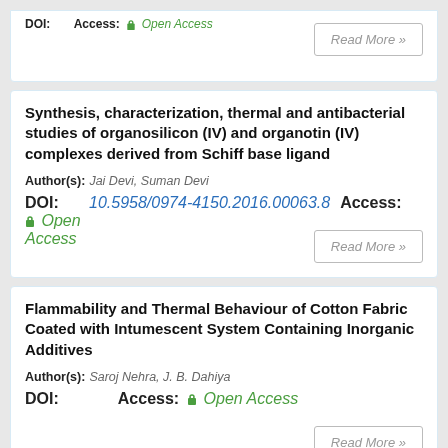Synthesis, characterization, thermal and antibacterial studies of organosilicon (IV) and organotin (IV) complexes derived from Schiff base ligand
Author(s): Jai Devi, Suman Devi
DOI: 10.5958/0974-4150.2016.00063.8  Access: Open Access
Flammability and Thermal Behaviour of Cotton Fabric Coated with Intumescent System Containing Inorganic Additives
Author(s): Saroj Nehra, J. B. Dahiya
DOI:   Access: Open Access
Kinetic study of non-isothermal degradation of